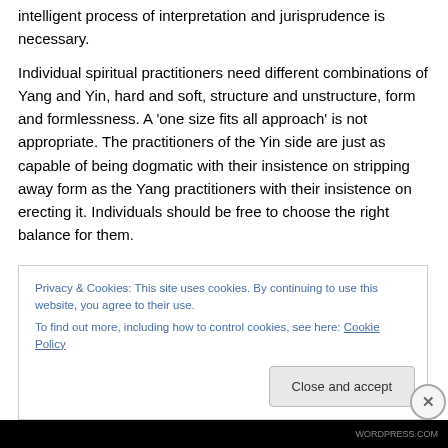intelligent process of interpretation and jurisprudence is necessary.
Individual spiritual practitioners need different combinations of Yang and Yin, hard and soft, structure and unstructure, form and formlessness. A 'one size fits all approach' is not appropriate. The practitioners of the Yin side are just as capable of being dogmatic with their insistence on stripping away form as the Yang practitioners with their insistence on erecting it. Individuals should be free to choose the right balance for them.
Privacy & Cookies: This site uses cookies. By continuing to use this website, you agree to their use. To find out more, including how to control cookies, see here: Cookie Policy